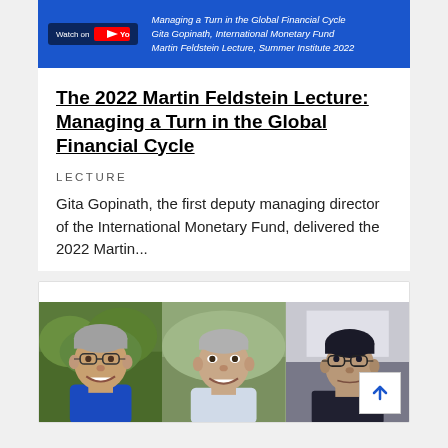[Figure (screenshot): YouTube video thumbnail banner showing 'Managing a Turn in the Global Financial Cycle, Gita Gopinath, International Monetary Fund, Martin Feldstein Lecture, Summer Institute 2022' with a 'Watch on YouTube' button on a blue background.]
The 2022 Martin Feldstein Lecture: Managing a Turn in the Global Financial Cycle
LECTURE
Gita Gopinath, the first deputy managing director of the International Monetary Fund, delivered the 2022 Martin...
[Figure (photo): Three portrait photos of men side by side. Left: man with glasses and gray hair smiling wearing blue shirt. Center: man with gray hair smiling in outdoor setting. Right: man with dark hair and glasses looking upward.]